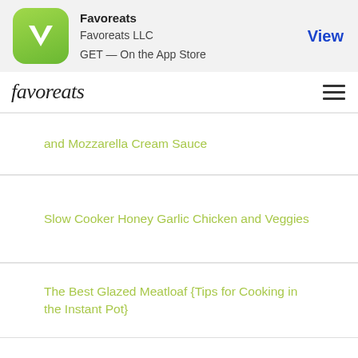[Figure (logo): App Store banner with Favoreats app icon (green rounded square with white V shape), app name, developer, and View button]
favoreats
and Mozzarella Cream Sauce
Slow Cooker Honey Garlic Chicken and Veggies
The Best Glazed Meatloaf {Tips for Cooking in the Instant Pot}
PRIVACY
TERMS
© 2018 FAVOREATS